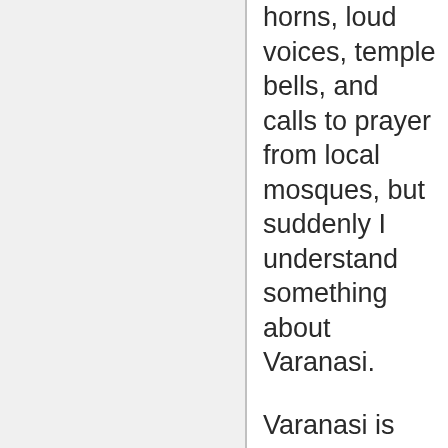horns, loud voices, temple bells, and calls to prayer from local mosques, but suddenly I understand something about Varanasi.
Varanasi is the constituency of prime minister Narendra Modi of the BJP and a